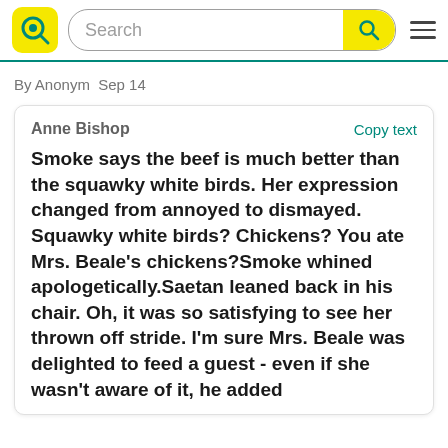Search
By Anonym  Sep 14
Anne Bishop
Copy text
Smoke says the beef is much better than the squawky white birds. Her expression changed from annoyed to dismayed. Squawky white birds? Chickens? You ate Mrs. Beale's chickens?Smoke whined apologetically.Saetan leaned back in his chair. Oh, it was so satisfying to see her thrown off stride. I'm sure Mrs. Beale was delighted to feed a guest - even if she wasn't aware of it, he added